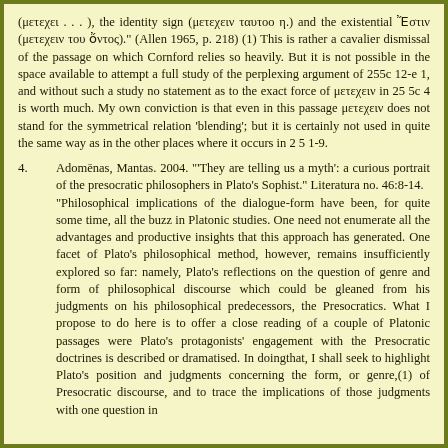(μετεχει . . . ), the identity sign (μετεχειν ταυτοο η.) and the existential Ἔστιν (μετεχειν του ὄντος)." (Allen 1965, p. 218) (1) This is rather a cavalier dismissal of the passage on which Cornford relies so heavily. But it is not possible in the space available to attempt a full study of the perplexing argument of 255c 12-e 1, and without such a study no statement as to the exact force of μετεχειν in 25 5c 4 is worth much. My own conviction is that even in this passage μετεχειν does not stand for the symmetrical relation 'blending'; but it is certainly not used in quite the same way as in the other places where it occurs in 2 5 1-9.
4. Adomēnas, Mantas. 2004. "'They are telling us a myth': a curious portrait of the presocratic philosophers in Plato's Sophist." Literatura no. 46:8-14.
"Philosophical implications of the dialogue-form have been, for quite some time, all the buzz in Platonic studies. One need not enumerate all the advantages and productive insights that this approach has generated. One facet of Plato's philosophical method, however, remains insufficiently explored so far: namely, Plato's reflections on the question of genre and form of philosophical discourse which could be gleaned from his judgments on his philosophical predecessors, the Presocratics. What I propose to do here is to offer a close reading of a couple of Platonic passages were Plato's protagonists' engagement with the Presocratic doctrines is described or dramatised. In doingthat, I shall seek to highlight Plato's position and judgments concerning the form, or genre,(1) of Presocratic discourse, and to trace the implications of those judgments with one question in